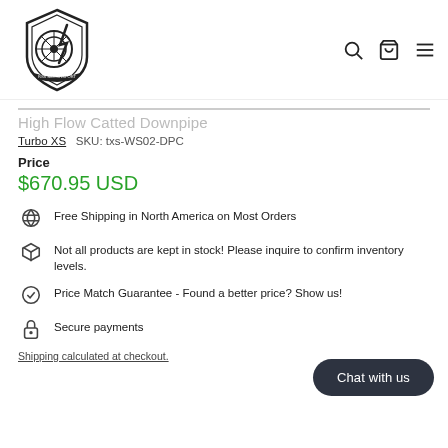[Figure (logo): RSS Motorsport logo - shield with tire and lightning bolt design, black and white]
High Flow Catted Downpipe
Turbo XS   SKU: txs-WS02-DPC
Price
$670.95 USD
Free Shipping in North America on Most Orders
Not all products are kept in stock! Please inquire to confirm inventory levels.
Price Match Guarantee - Found a better price? Show us!
Secure payments
Shipping calculated at checkout.